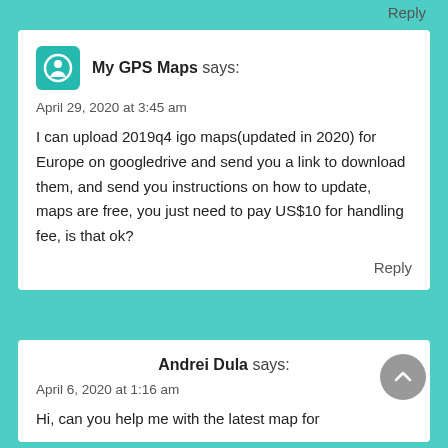Reply
My GPS Maps says:
April 29, 2020 at 3:45 am
I can upload 2019q4 igo maps(updated in 2020) for Europe on googledrive and send you a link to download them, and send you instructions on how to update, maps are free, you just need to pay US$10 for handling fee, is that ok?
Reply
Andrei Dula says:
April 6, 2020 at 1:16 am
Hi, can you help me with the latest map for